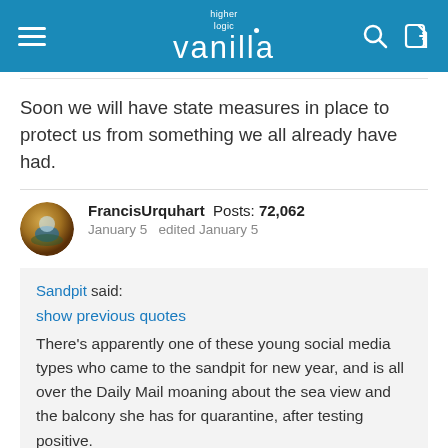higher logic vanilla
Soon we will have state measures in place to protect us from something we all already have had.
FrancisUrquhart  Posts: 72,062
January 5   edited January 5
Sandpit said:
show previous quotes
There's apparently one of these young social media types who came to the sandpit for new year, and is all over the Daily Mail moaning about the sea view and the balcony she has for quarantine, after testing positive.
latest about this the BBC on on the